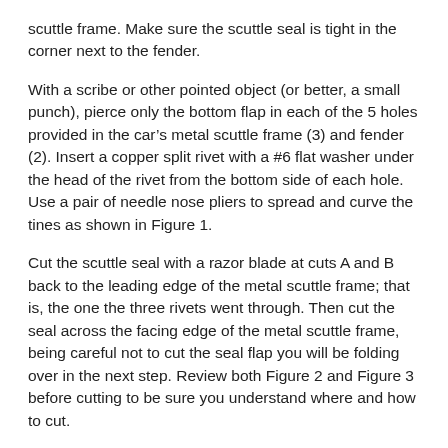scuttle frame. Make sure the scuttle seal is tight in the corner next to the fender.
With a scribe or other pointed object (or better, a small punch), pierce only the bottom flap in each of the 5 holes provided in the car’s metal scuttle frame (3) and fender (2). Insert a copper split rivet with a #6 flat washer under the head of the rivet from the bottom side of each hole. Use a pair of needle nose pliers to spread and curve the tines as shown in Figure 1.
Cut the scuttle seal with a razor blade at cuts A and B back to the leading edge of the metal scuttle frame; that is, the one the three rivets went through. Then cut the seal across the facing edge of the metal scuttle frame, being careful not to cut the seal flap you will be folding over in the next step. Review both Figure 2 and Figure 3 before cutting to be sure you understand where and how to cut.